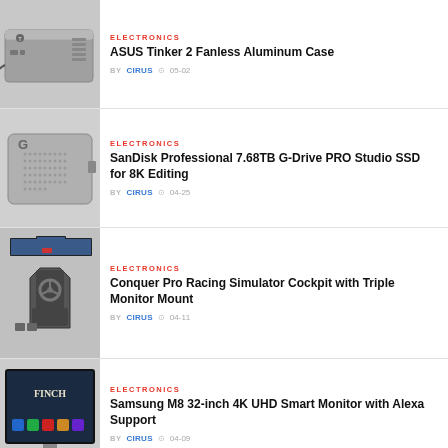ELECTRONICS | ASUS Tinker 2 Fanless Aluminum Case | BY CIRUS 05-02
ELECTRONICS | SanDisk Professional 7.68TB G-Drive PRO Studio SSD for 8K Editing | BY CIRUS 04-25
ELECTRONICS | Conquer Pro Racing Simulator Cockpit with Triple Monitor Mount | BY CIRUS 04-11
ELECTRONICS | Samsung M8 32-inch 4K UHD Smart Monitor with Alexa Support | BY CIRUS 04-09